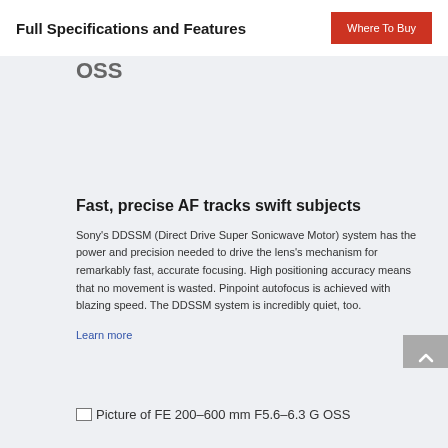Full Specifications and Features
Fast, precise AF tracks swift subjects
Sony's DDSSM (Direct Drive Super Sonicwave Motor) system has the power and precision needed to drive the lens's mechanism for remarkably fast, accurate focusing. High positioning accuracy means that no movement is wasted. Pinpoint autofocus is achieved with blazing speed. The DDSSM system is incredibly quiet, too.
Learn more
Picture of FE 200–600 mm F5.6–6.3 G OSS